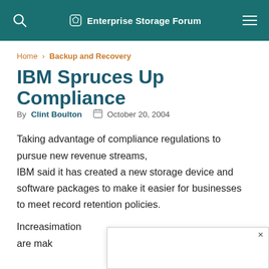Enterprise Storage Forum
Home › Backup and Recovery
IBM Spruces Up Compliance
By Clint Boulton   October 20, 2004
Taking advantage of compliance regulations to pursue new revenue streams, IBM said it has created a new storage device and software packages to make it easier for businesses to meet record retention policies.
Increasi...mation are mak...